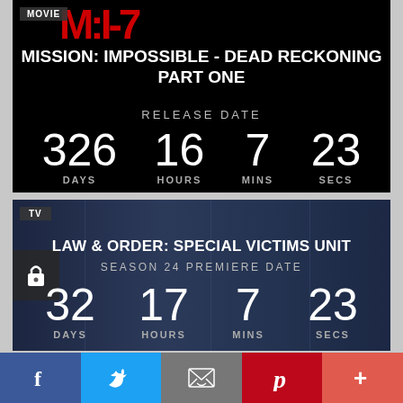[Figure (screenshot): Movie countdown card for Mission: Impossible - Dead Reckoning Part One with MOVIE badge and MI-7 logo on black background]
MISSION: IMPOSSIBLE - DEAD RECKONING PART ONE
RELEASE DATE
326 DAYS  16 HOURS  7 MINS  23 SECS
[Figure (screenshot): TV countdown card for Law & Order: Special Victims Unit Season 24 Premiere Date with TV badge and police scene background]
LAW & ORDER: SPECIAL VICTIMS UNIT
SEASON 24 PREMIERE DATE
32 DAYS  17 HOURS  7 MINS  23 SECS
[Figure (infographic): Social sharing bar with Facebook, Twitter, Email, Pinterest, and More buttons]